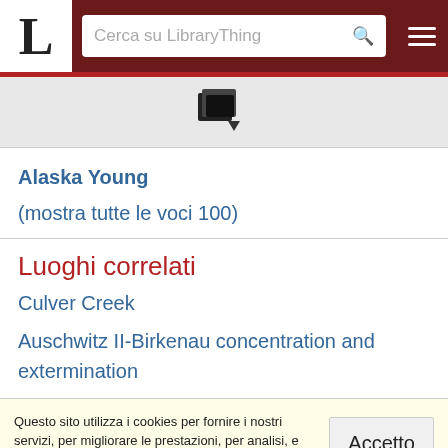L  Cerca su LibraryThing
[Figure (other): LibraryThing book/add icon in dark color]
Alaska Young
(mostra tutte le voci 100)
Luoghi correlati
Culver Creek
Auschwitz II-Birkenau concentration and extermination
Questo sito utilizza i cookies per fornire i nostri servizi, per migliorare le prestazioni, per analisi, e (per gli utenti che accedono senza fare login) per la pubblicità. Usando LibraryThing confermi di aver letto e capito le nostre condizioni di servizio e la politica sulla privacy. Il tuo uso del sito e dei servizi è soggetto a tali politiche e condizioni.